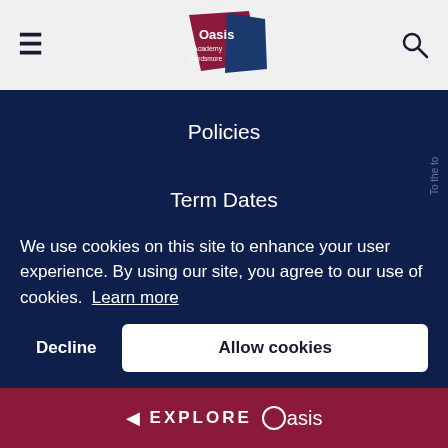Oasis Academy Lordsmore — site header with hamburger menu, logo, and search icon
Policies
Term Dates
Careers
StaffZone
StudentZone
Show My Homework
We use cookies on this site to enhance your user experience. By using our site, you agree to our use of cookies. Learn more
◄ EXPLORE Oasis